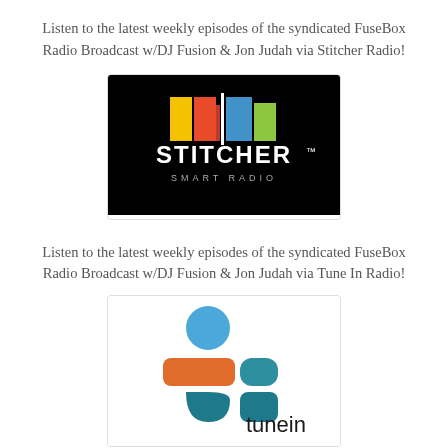Listen to the latest weekly episodes of the syndicated FuseBox Radio Broadcast w/DJ Fusion & Jon Judah via Stitcher Radio!
[Figure (logo): Stitcher Smart Radio logo — colorful horizontal bars (yellow, orange, red, blue, green) above white text reading STITCHER with SMART RADIO below, on black background]
Listen to the latest weekly episodes of the syndicated FuseBox Radio Broadcast w/DJ Fusion & Jon Judah via Tune In Radio!
[Figure (logo): TuneIn logo — blue circle (head), orange rectangle (body), teal rounded shape, teal teardrop shape, with 'tunein' text in dark, on white background]